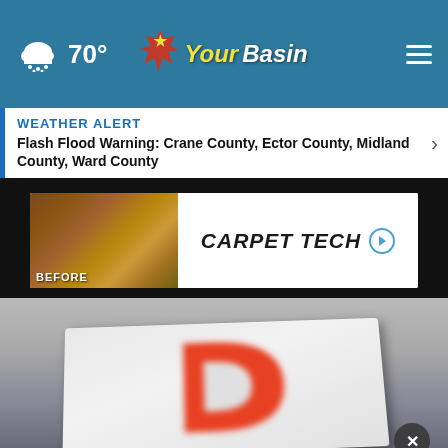70° YourBasin
WEATHER ALERT
Flash Flood Warning: Crane County, Ector County, Midland County, Ward County
[Figure (photo): Carpet Tech advertisement banner showing before flooring image on left and Carpet Tech logo text on right]
[Figure (photo): Close-up photo of an orange DirecTV logo/symbol on a white surface with dark background]
[Figure (photo): WTX Truck Injury Lawyers advertisement banner with KRW logo, phone number 432-803-4709, and KRWLAWYERS.COM]